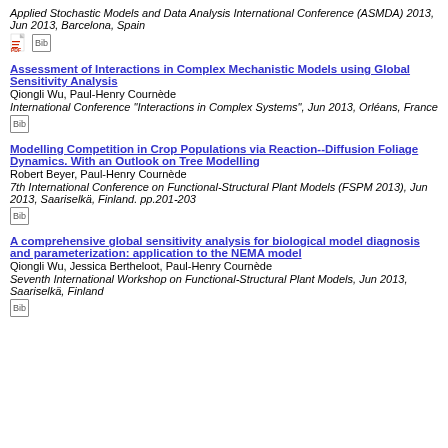Applied Stochastic Models and Data Analysis International Conference (ASMDA) 2013, Jun 2013, Barcelona, Spain
[PDF] [Bib]
Assessment of Interactions in Complex Mechanistic Models using Global Sensitivity Analysis
Qiongli Wu, Paul-Henry Cournède
International Conference "Interactions in Complex Systems", Jun 2013, Orléans, France
[Bib]
Modelling Competition in Crop Populations via Reaction--Diffusion Foliage Dynamics. With an Outlook on Tree Modelling
Robert Beyer, Paul-Henry Cournède
7th International Conference on Functional-Structural Plant Models (FSPM 2013), Jun 2013, Saariselkä, Finland. pp.201-203
[Bib]
A comprehensive global sensitivity analysis for biological model diagnosis and parameterization: application to the NEMA model
Qiongli Wu, Jessica Bertheloot, Paul-Henry Cournède
Seventh International Workshop on Functional-Structural Plant Models, Jun 2013, Saariselkä, Finland
[Bib]